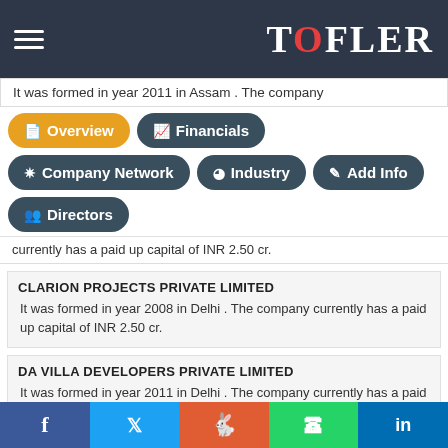TOFLER
It was formed in year 2011 in Assam . The company
Overview | Financials | Company Network | Industry | Add Info | Directors
currently has a paid up capital of INR 2.50 cr.
CLARION PROJECTS PRIVATE LIMITED
It was formed in year 2008 in Delhi . The company currently has a paid up capital of INR 2.50 cr.
DA VILLA DEVELOPERS PRIVATE LIMITED
It was formed in year 2011 in Delhi . The company currently has a paid up capital of INR 2.50 cr.
UPENDRA NIKHIL HI-TECH CONSTRUCTIONS PRIVATE LIMITED
It was formed in year 2010 in Bihar . The company currently has a paid up capital of INR 2.50 cr.
Facebook | Twitter | Reddit | WhatsApp | LinkedIn